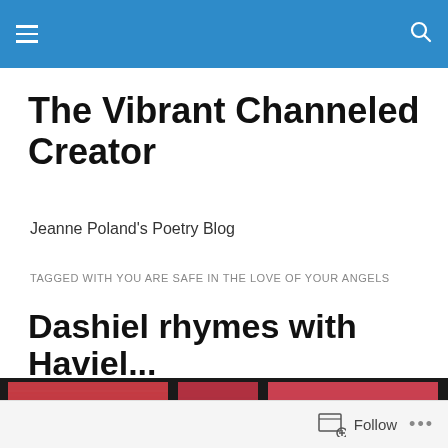The Vibrant Channeled Creator
Jeanne Poland's Poetry Blog
TAGGED WITH YOU ARE SAFE IN THE LOVE OF YOUR ANGELS
Dashiel rhymes with Haviel...
[Figure (photo): A stained glass or mosaic artwork with red, pink, and multicolored panels separated by black frames, with lighter horizontal bands]
Follow